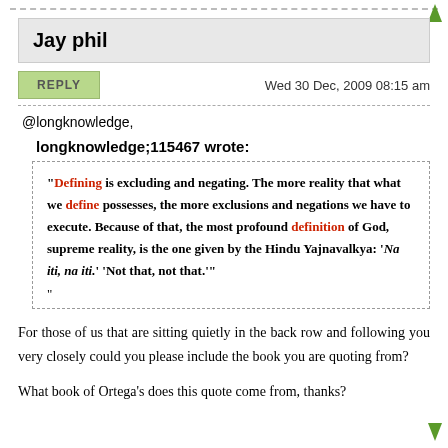Jay phil
Wed 30 Dec, 2009 08:15 am
@longknowledge,
longknowledge;115467 wrote:
"Defining is excluding and negating. The more reality that what we define possesses, the more exclusions and negations we have to execute. Because of that, the most profound definition of God, supreme reality, is the one given by the Hindu Yajnavalkya: 'Na iti, na iti.' 'Not that, not that.'"
"
For those of us that are sitting quietly in the back row and following you very closely could you please include the book you are quoting from?
What book of Ortega's does this quote come from, thanks?